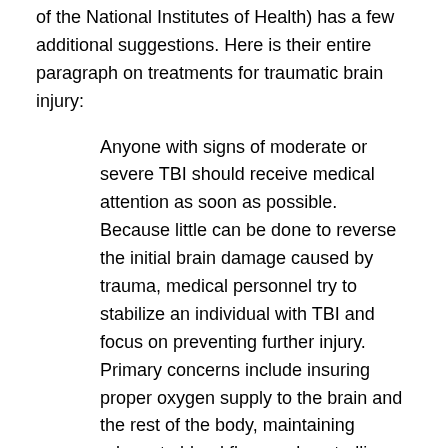of the National Institutes of Health) has a few additional suggestions. Here is their entire paragraph on treatments for traumatic brain injury:
Anyone with signs of moderate or severe TBI should receive medical attention as soon as possible. Because little can be done to reverse the initial brain damage caused by trauma, medical personnel try to stabilize an individual with TBI and focus on preventing further injury. Primary concerns include insuring proper oxygen supply to the brain and the rest of the body, maintaining adequate blood flow, and controlling blood pressure. Imaging tests help in determining the diagnosis and prognosis of a TBI patient. Patients with mild to moderate injuries may receive skull and neck X-rays to check for bone fractures or spinal instability. For moderate to severe